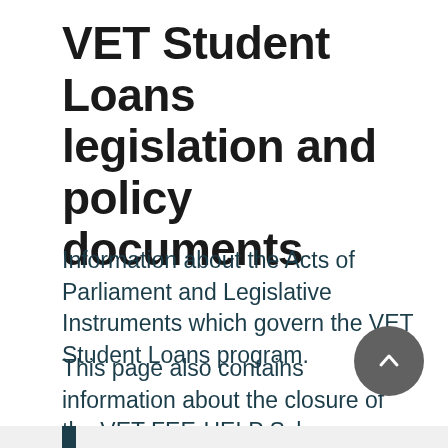VET Student Loans legislation and policy documents
Information about the Acts of Parliament and Legislative Instruments which govern the VET Student Loans program.
This page also contains information about the closure of the VET FEE-HELP Scheme.